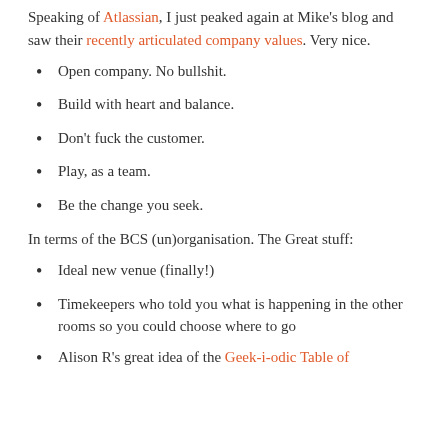Speaking of Atlassian, I just peaked again at Mike's blog and saw their recently articulated company values. Very nice.
Open company. No bullshit.
Build with heart and balance.
Don't fuck the customer.
Play, as a team.
Be the change you seek.
In terms of the BCS (un)organisation. The Great stuff:
Ideal new venue (finally!)
Timekeepers who told you what is happening in the other rooms so you could choose where to go
Alison R's great idea of the Geek-i-odic Table of Elements (or something like that)